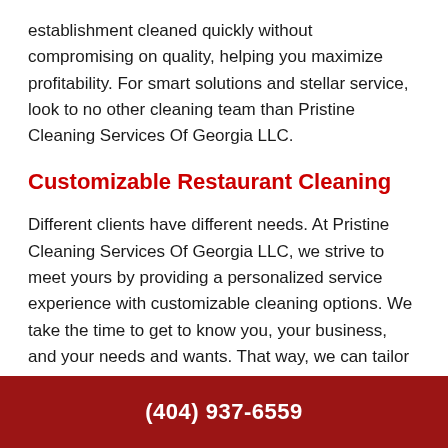establishment cleaned quickly without compromising on quality, helping you maximize profitability. For smart solutions and stellar service, look to no other cleaning team than Pristine Cleaning Services Of Georgia LLC.
Customizable Restaurant Cleaning
Different clients have different needs. At Pristine Cleaning Services Of Georgia LLC, we strive to meet yours by providing a personalized service experience with customizable cleaning options. We take the time to get to know you, your business, and your needs and wants. That way, we can tailor our services to make sure they stay convenient for you.
(404) 937-6559